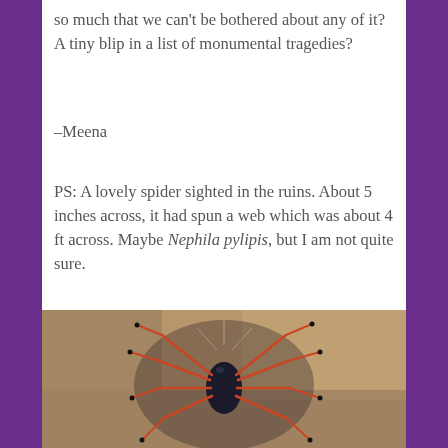so much that we can't be bothered about any of it? A tiny blip in a list of monumental tragedies?
–Meena
PS: A lovely spider sighted in the ruins. About 5 inches across, it had spun a web which was about 4 ft across. Maybe Nephila pylipis, but I am not quite sure.
[Figure (photo): Close-up photograph of a large spider (possibly Nephila pylipis) with orange/red legs and a dark body, photographed from above against a blurred brownish background]